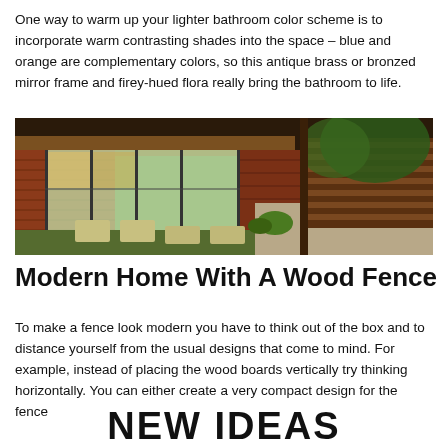One way to warm up your lighter bathroom color scheme is to incorporate warm contrasting shades into the space – blue and orange are complementary colors, so this antique brass or bronzed mirror frame and firey-hued flora really bring the bathroom to life.
[Figure (photo): Exterior photo of a modern mid-century home with large glass windows, brick facade, a green lawn with stepping stones leading to a patio, and a horizontal wood slat fence on the right side with trees in the background.]
Modern Home With A Wood Fence
To make a fence look modern you have to think out of the box and to distance yourself from the usual designs that come to mind. For example, instead of placing the wood boards vertically try thinking horizontally. You can either create a very compact design for the fence
NEW IDEAS